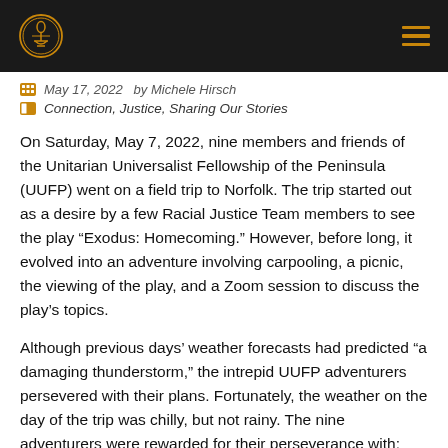May 17, 2022  by Michele Hirsch
Connection, Justice, Sharing Our Stories
On Saturday, May 7, 2022, nine members and friends of the Unitarian Universalist Fellowship of the Peninsula (UUFP) went on a field trip to Norfolk. The trip started out as a desire by a few Racial Justice Team members to see the play “Exodus: Homecoming.” However, before long, it evolved into an adventure involving carpooling, a picnic, the viewing of the play, and a Zoom session to discuss the play’s topics.
Although previous days’ weather forecasts had predicted “a damaging thunderstorm,” the intrepid UUFP adventurers persevered with their plans. Fortunately, the weather on the day of the trip was chilly, but not rainy. The nine adventurers were rewarded for their perseverance with: